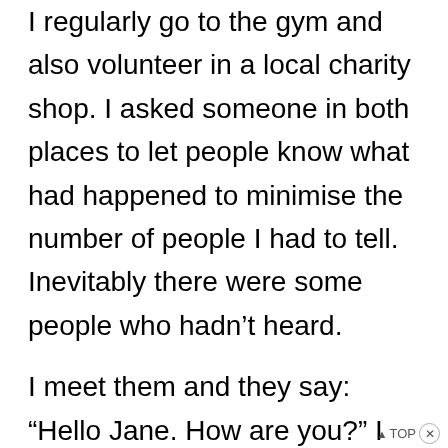I regularly go to the gym and also volunteer in a local charity shop. I asked someone in both places to let people know what had happened to minimise the number of people I had to tell. Inevitably there were some people who hadn't heard.
I meet them and they say: “Hello Jane. How are you?” I could just say “fine” but that denies what has happened to my grandson. I usually say something like “Not great.” Some people don’t ask me